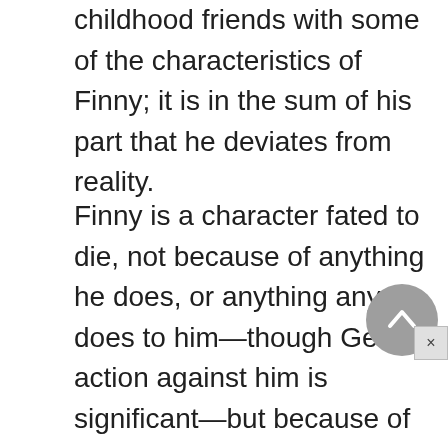childhood friends with some of the characteristics of Finny; it is in the sum of his part that he deviates from reality.
Finny is a character fated to die, not because of anything he does, or anything anyone does to him—though Gene's action against him is significant—but because of what he is and what the world is. If the idyllic summer could have lasted forever, then Finny could have lived a full life. If winter Olympic games could have taken the place of fighting troops on skis then Finny's leg